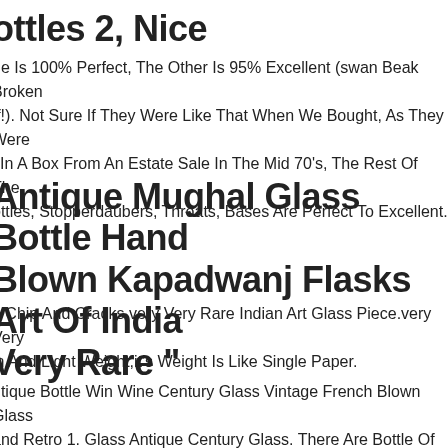ottles 2, Nice
ne Is 100% Perfect, The Other Is 95% Excellent (swan Beak Broken ff!). Not Sure If They Were Like That When We Bought, As They Were l In A Box From An Estate Sale In The Mid 70's, The Rest Of The ottles, Stopperdaubers, Throats, Bases Are Perfect To Excellent.
Antique Mughal Glass Bottle Hand Blown Kapadwanj Flasks Art Of India Very Rare "
o Chip And Cracks.very Very Rare Indian Art Glass Piece.very Very in And Light Weight,it's Weight Is Like Single Paper.
ntique Bottle Win Wine Century Glass Vintage French Blown Glass and Retro 1. Glass Antique Century Glass. There Are Bottle Of Franc l Glass Flabbergasted(puffed) And Rare. No Copy Original Of France